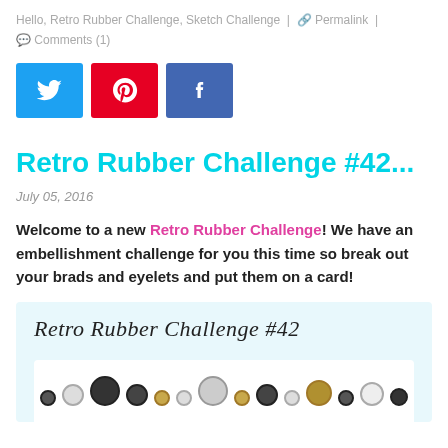Hello, Retro Rubber Challenge, Sketch Challenge | Permalink | Comments (1)
[Figure (other): Three social media sharing buttons: Twitter (blue bird icon), Pinterest (red P icon), Facebook (dark blue f icon)]
Retro Rubber Challenge #42...
July 05, 2016
Welcome to a new Retro Rubber Challenge! We have an embellishment challenge for you this time so break out your brads and eyelets and put them on a card!
[Figure (illustration): Challenge image box with light blue background showing 'Retro Rubber Challenge #42' in cursive script at top, and a photo of craft brads and eyelets (black, white, gold colored metal fasteners) below]